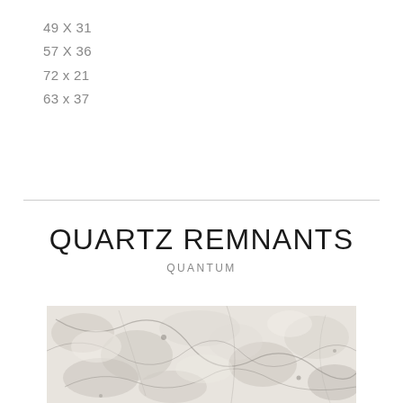49 X 31
57 X 36
72 x 21
63 x 37
QUARTZ REMNANTS
QUANTUM
[Figure (photo): Close-up photo of quartz stone surface with white, grey, and black veining pattern — Quantum quartz remnant slab]